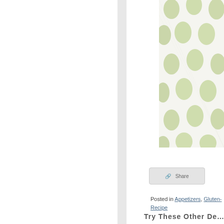[Figure (photo): Close-up photo of fabric with light green oval/polka dot pattern on white background]
[Figure (other): Share button or social media widget area]
Posted in Appetizers, Gluten- ... Recipe
Try These Other De...